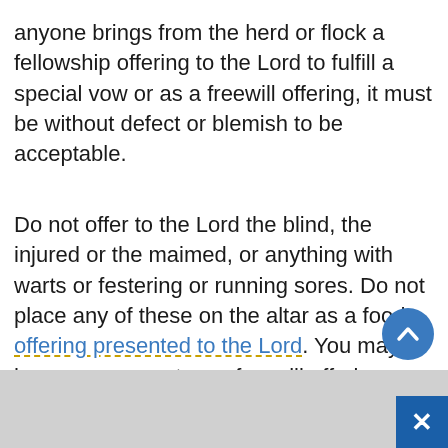anyone brings from the herd or flock a fellowship offering to the Lord to fulfill a special vow or as a freewill offering, it must be without defect or blemish to be acceptable.
Do not offer to the Lord the blind, the injured or the maimed, or anything with warts or festering or running sores. Do not place any of these on the altar as a food offering presented to the Lord. You may, however, present as a freewill offering an ox or a sheep that is deformed or stunted, but it will not be accepted in fulfillment of a vow. You must not offer to the Lord an animal whose testicles are bruised,